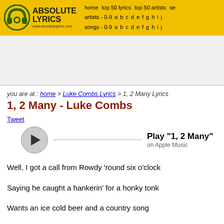ABSOLUTE LYRICS www.absolutelyrics.com | home | top 50 lyrics | top 50 artists | se | artists - 0-9 a b c d e f g h i j | songs - 0-9 a b c d e f g h i j
you are at : home > Luke Combs Lyrics > 1, 2 Many Lyrics
1, 2 Many - Luke Combs
Tweet
[Figure (other): Play button with text: Play "1, 2 Many" on Apple Music]
Well, I got a call from Rowdy 'round six o'clock
Saying he caught a hankerin' for a honky tonk
Wants an ice cold beer and a country song
But he didn't wanna stay out all night long
Well, I ain't the kind to let a buddy drink alone